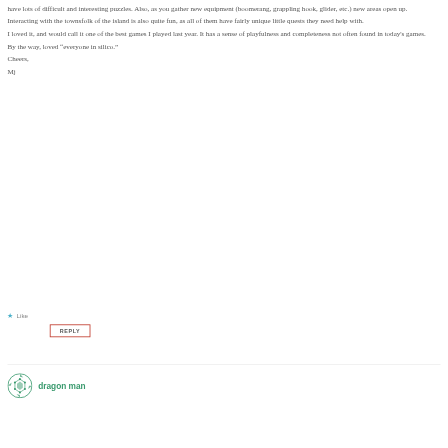have lots of difficult and interesting puzzles. Also, as you gather new equipment (boomerang, grappling hook, glider, etc.) new areas open up.
Interacting with the townsfolk of the island is also quite fun, as all of them have fairly unique little quests they need help with.
I loved it, and would call it one of the best games I played last year. It has a sense of playfulness and completeness not often found in today's games.
By the way, loved “everyone in silico.”
Cheers,
Mj
Like
REPLY
dragon man